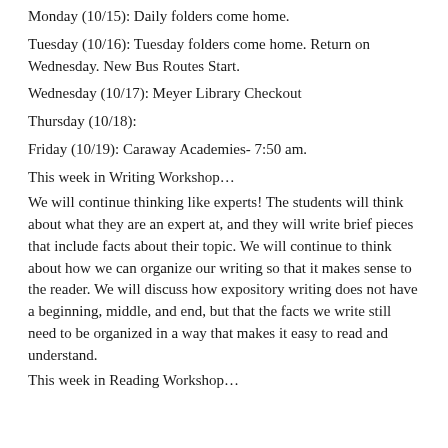Monday (10/15):  Daily folders come home.
Tuesday (10/16):  Tuesday folders come home.  Return on Wednesday.  New Bus Routes Start.
Wednesday (10/17): Meyer Library Checkout
Thursday (10/18):
Friday (10/19): Caraway Academies- 7:50 am.
This week in Writing Workshop…
We will continue thinking like experts!  The students will think about what they are an expert at, and they will write brief pieces that include facts about their topic.  We will continue to think about how we can organize our writing so that it makes sense to the reader. We will discuss how expository writing does not have a beginning, middle, and end, but that the facts we write still need to be organized in a way that makes it easy to read and understand.
This week in Reading Workshop…